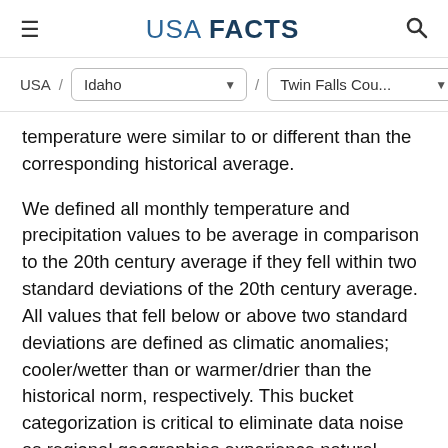USA FACTS
USA / Idaho / Twin Falls Cou...
temperature were similar to or different than the corresponding historical average.
We defined all monthly temperature and precipitation values to be average in comparison to the 20th century average if they fell within two standard deviations of the 20th century average. All values that fell below or above two standard deviations are defined as climatic anomalies; cooler/wetter than or warmer/drier than the historical norm, respectively. This bucket categorization is critical to eliminate data noise as regional geographies experience natural fluctuations in temperature and precipitation from year to year.